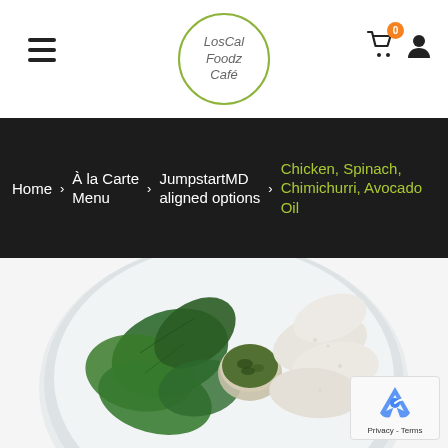LorCal Foodz Café — navigation header with hamburger menu, logo, cart (0), and user icon
Home › À la Carte Menu › JumpstartMD aligned options › Chicken, Spinach, Chimichurri, Avocado Oil
[Figure (photo): Overhead view of a white plate with sliced chicken breast, fresh spinach leaves, and a small container of chimichurri sauce on a white background]